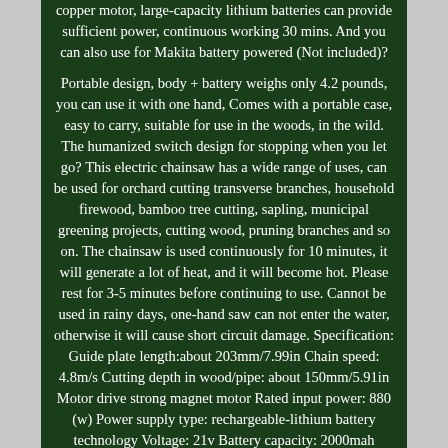copper motor, large-capacity lithium batteries can provide sufficient power, continuous working 30 mins. And you can also use for Makita battery powered (Not included)? Portable design, body + battery weighs only 4.2 pounds, you can use it with one hand, Comes with a portable case, easy to carry, suitable for use in the woods, in the wild. The humanized switch design for stopping when you let go? This electric chainsaw has a wide range of uses, can be used for orchard cutting transverse branches, household firewood, bamboo tree cutting, sapling, municipal greening projects, cutting wood, pruning branches and so on. The chainsaw is used continuously for 10 minutes, it will generate a lot of heat, and it will become hot. Please rest for 3-5 minutes before continuing to use. Cannot be used in rainy days, one-hand saw can not enter the water, otherwise it will cause short circuit damage. Specification: Guide plate length:about 203mm/7.99in Chain speed: 4.8m/s Cutting depth in wood/pipe: about 150mm/5.91in Motor drive strong magnet motor Rated input power: 880 (w) Power supply type: rechargeable-lithium battery technology Voltage: 21v Battery capacity: 2000mah Working time:0.5-2h Charging time:2-3h Package include: 1Handheld 8inch Electric Chainsaw 1Rechargeable Battery 1Charger 1Wrench 1screwdriver 1Instruction. This item is in the category "Garden & Patio\Garden Power Tools & Equipment\Chainsaws". The seller is "buyersmarket" and is located in